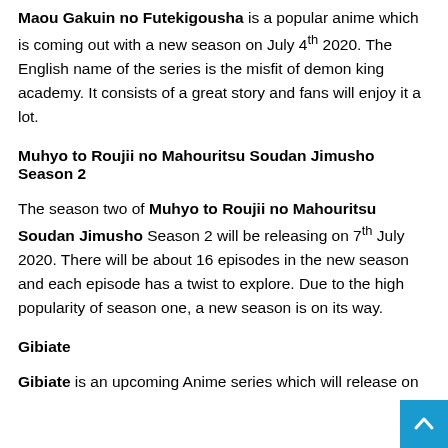Maou Gakuin no Futekigousha is a popular anime which is coming out with a new season on July 4th 2020. The English name of the series is the misfit of demon king academy. It consists of a great story and fans will enjoy it a lot.
Muhyo to Roujii no Mahouritsu Soudan Jimusho Season 2
The season two of Muhyo to Roujii no Mahouritsu Soudan Jimusho Season 2 will be releasing on 7th July 2020. There will be about 16 episodes in the new season and each episode has a twist to explore. Due to the high popularity of season one, a new season is on its way.
Gibiate
Gibiate is an upcoming Anime series which will release on